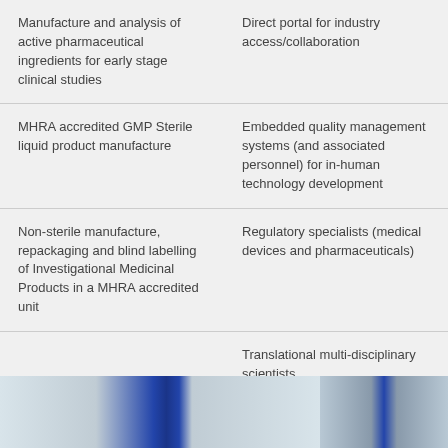|  |  |
| --- | --- |
| Manufacture and analysis of active pharmaceutical ingredients for early stage clinical studies | Direct portal for industry access/collaboration |
| MHRA accredited GMP Sterile liquid product manufacture | Embedded quality management systems (and associated personnel) for in-human technology development |
| Non-sterile manufacture, repackaging and blind labelling of Investigational Medicinal Products in a MHRA accredited unit | Regulatory specialists (medical devices and pharmaceuticals) |
|  | Translational multi-disciplinary scientists |
[Figure (photo): Two side-by-side photographs of a pharmaceutical/laboratory facility interior showing blue-panelled walls and clinical corridors]